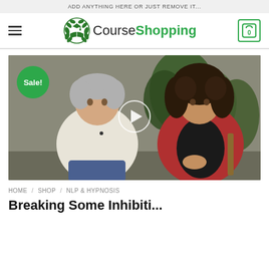ADD ANYTHING HERE OR JUST REMOVE IT...
[Figure (logo): CourseShopping website header with hamburger menu on left, CourseShopping logo in center (green open book with graduation cap icon, black 'Course' text and green 'Shopping' text), and green cart icon showing '0' on right]
[Figure (photo): Video thumbnail showing two people seated in conversation: an older man with gray hair wearing a white knit sweater on the left, and a woman with curly dark hair wearing a red blazer on the right. Plants visible in background. A green 'Sale!' badge overlays the top-left corner. A circular play button is centered on the image.]
HOME / SHOP / NLP & HYPNOSIS
Breaking Some Inhibiti...